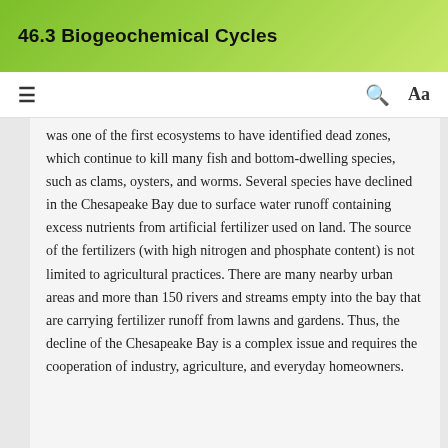46.3 Biogeochemical Cycles
was one of the first ecosystems to have identified dead zones, which continue to kill many fish and bottom-dwelling species, such as clams, oysters, and worms. Several species have declined in the Chesapeake Bay due to surface water runoff containing excess nutrients from artificial fertilizer used on land. The source of the fertilizers (with high nitrogen and phosphate content) is not limited to agricultural practices. There are many nearby urban areas and more than 150 rivers and streams empty into the bay that are carrying fertilizer runoff from lawns and gardens. Thus, the decline of the Chesapeake Bay is a complex issue and requires the cooperation of industry, agriculture, and everyday homeowners.